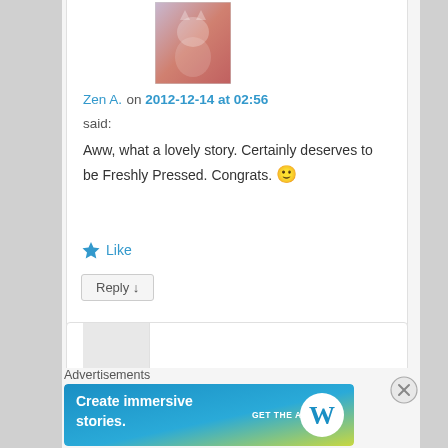[Figure (photo): Avatar image of Zen A. showing a small animal/cat figure on a red surface]
Zen A. on 2012-12-14 at 02:56
said:
Aww, what a lovely story. Certainly deserves to be Freshly Pressed. Congrats. 🙂
★ Like
Reply ↓
Advertisements
[Figure (screenshot): WordPress advertisement banner: 'Create immersive stories.' with GET THE APP button and WordPress logo]